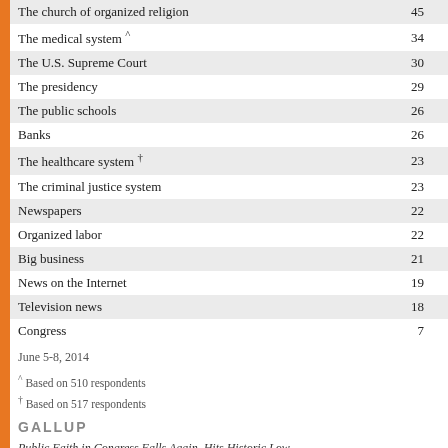| Institution | Value |
| --- | --- |
| The church of organized religion | 45 |
| The medical system ^ | 34 |
| The U.S. Supreme Court | 30 |
| The presidency | 29 |
| The public schools | 26 |
| Banks | 26 |
| The healthcare system † | 23 |
| The criminal justice system | 23 |
| Newspapers | 22 |
| Organized labor | 22 |
| Big business | 21 |
| News on the Internet | 19 |
| Television news | 18 |
| Congress | 7 |
June 5-8, 2014
^ Based on 510 respondents
† Based on 517 respondents
GALLUP
Public Faith in Congress Falls Again, Hits Historic Low
http://www.gallup.com/poll/171710/public-faith-congress-falls-again-hits